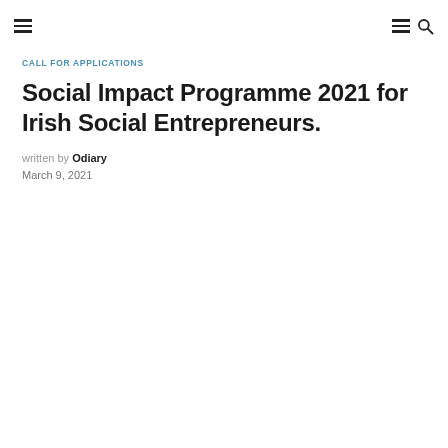≡ ≡ 🔍
CALL FOR APPLICATIONS
Social Impact Programme 2021 for Irish Social Entrepreneurs.
written by Odiary
March 9, 2021